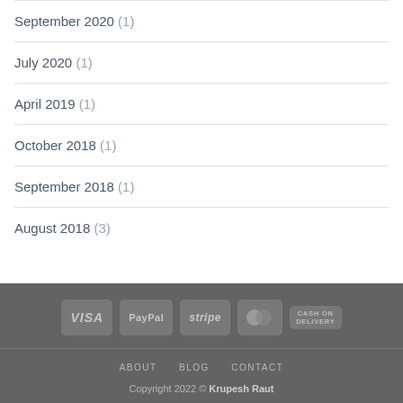September 2020 (1)
July 2020 (1)
April 2019 (1)
October 2018 (1)
September 2018 (1)
August 2018 (3)
VISA | PayPal | stripe | MasterCard | CASH ON DELIVERY | ABOUT BLOG CONTACT | Copyright 2022 © Krupesh Raut